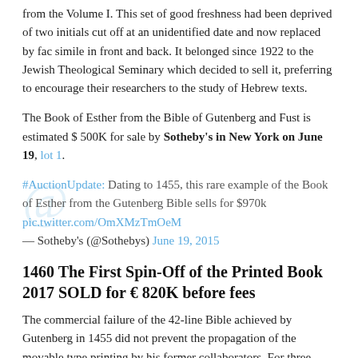from the Volume I. This set of good freshness had been deprived of two initials cut off at an unidentified date and now replaced by fac simile in front and back. It belonged since 1922 to the Jewish Theological Seminary which decided to sell it, preferring to encourage their researchers to the study of Hebrew texts.
The Book of Esther from the Bible of Gutenberg and Fust is estimated $ 500K for sale by Sotheby's in New York on June 19, lot 1.
#AuctionUpdate: Dating to 1455, this rare example of the Book of Esther from the Gutenberg Bible sells for $970k pic.twitter.com/OmXMzTmOeM — Sotheby's (@Sothebys) June 19, 2015
1460 The First Spin-Off of the Printed Book 2017 SOLD for € 820K before fees
The commercial failure of the 42-line Bible achieved by Gutenberg in 1455 did not prevent the propagation of the movable type printing by his former collaborators. For three years a small activity is maintained in Mainz only, with Fust and Schoeffer.